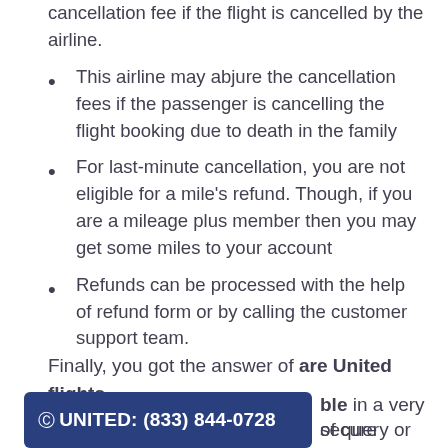cancellation fee if the flight is cancelled by the airline.
This airline may abjure the cancellation fees if the passenger is cancelling the flight booking due to death in the family
For last-minute cancellation, you are not eligible for a mile's refund. Though, if you are a mileage plus member then you may get some miles to your account
Refunds can be processed with the help of refund form or by calling the customer support team.
Finally, you got the answer of are United flights refundable in a very secure of query or want to ask
[Figure (other): Blue button with text: OUNITED: (833) 844-0728]